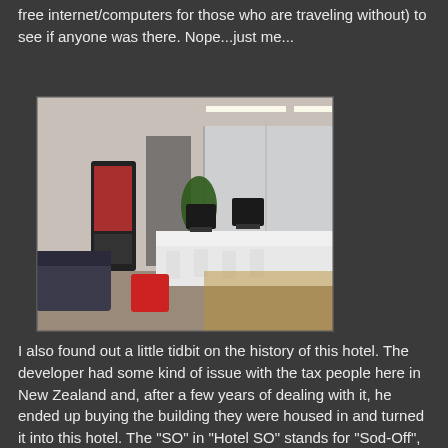free internet/computers for those who are traveling without) to see if anyone was there. Nope...just me...
[Figure (photo): Hotel business center/lobby area with white workstations and computers, vending machines on the left, a red stool in the foreground, and glass partitions in the background.]
I also found out a little tidbit on the history of this hotel. The developer had some kind of issue with the tax people here in New Zealand and, after a few years of dealing with it, he ended up buying the building they were housed in and turned it into this hotel. The "SO" in "Hotel SO" stands for "Sod-Off", which Nana could translate easily as "F-Off" to the